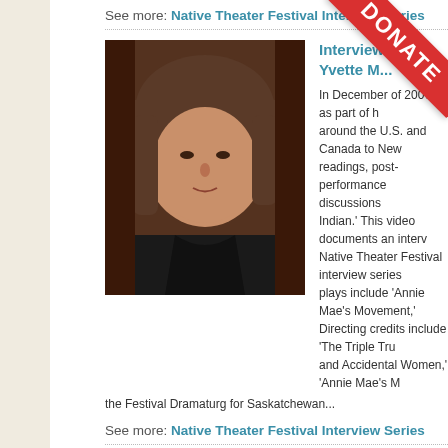See more: Native Theater Festival Interview Series
[Figure (photo): Portrait photo of a woman with short brown hair wearing a dark jacket, looking to the side]
Interview with Yvette [...]
In December of 2007, as part of [...] around the U.S. and Canada to New [...] readings, post-performance discussions [...] Indian.' This video documents an interv [...] Native Theater Festival interview series [...] plays include 'Annie Mae's Movement,' [...] Directing credits include 'The Triple Tru [...] and Accidental Women,' 'Annie Mae's M [...]
the Festival Dramaturg for Saskatchewan...
See more: Native Theater Festival Interview Series
[Figure (photo): Two women smiling on a colorful TV show stage set, one wearing white and one wearing black]
Interview with Yuyachkani-Memo[...]
Synopsis: Interview with Ana Correa an [...] conducted by sociologist and Dean of th [...] for Peru's TV Channel 7 show 'Memoria [...] International Women's Day, Peirano, Ca [...]